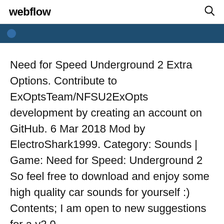webflow
Need for Speed Underground 2 Extra Options. Contribute to ExOptsTeam/NFSU2ExOpts development by creating an account on GitHub. 6 Mar 2018 Mod by ElectroShark1999. Category: Sounds | Game: Need for Speed: Underground 2 So feel free to download and enjoy some high quality car sounds for yourself :) Contents; I am open to new suggestions for a v2.0